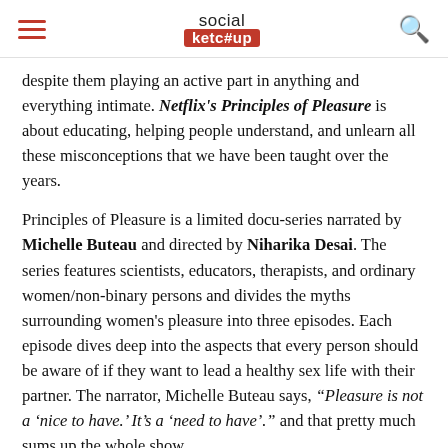social ketc#up
despite them playing an active part in anything and everything intimate. Netflix's Principles of Pleasure is about educating, helping people understand, and unlearn all these misconceptions that we have been taught over the years.
Principles of Pleasure is a limited docu-series narrated by Michelle Buteau and directed by Niharika Desai. The series features scientists, educators, therapists, and ordinary women/non-binary persons and divides the myths surrounding women's pleasure into three episodes. Each episode dives deep into the aspects that every person should be aware of if they want to lead a healthy sex life with their partner. The narrator, Michelle Buteau says, “Pleasure is not a ‘nice to have.’ It’s a ‘need to have’.” and that pretty much sums up the whole show.